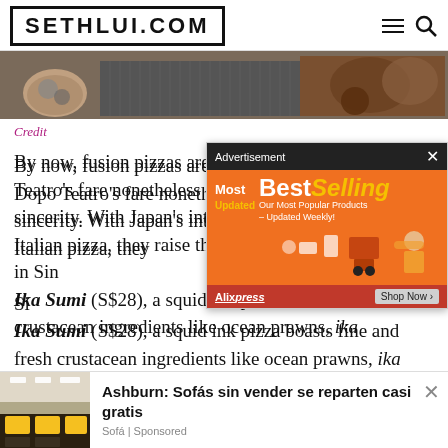SETHLUI.COM
[Figure (photo): Close-up photo of what appears to be pizza dough or food preparation items on a dark surface]
Credit
By now, fusion pizzas are no longer common, but Dopo Teatro's fare nonetheless stands out by retaining sincerity. With Japan's interpretation of traditional Italian pizza, they raise the understanding of fusion food in Singapore.
Ika Sumi (S$28), a squid ink pizza boasts fine and fresh crustacean ingredients like ocean prawns, ika
[Figure (screenshot): Advertisement overlay: Most BestSelling - Our Most Popular Products Updated Weekly, AliExpress Shop Now]
[Figure (photo): Bottom advertisement showing a furniture store interior with sofas]
Ashburn: Sofás sin vender se reparten casi gratis
Sofá | Sponsored